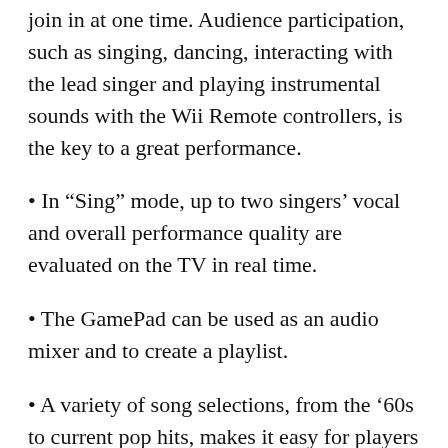join in at one time. Audience participation, such as singing, dancing, interacting with the lead singer and playing instrumental sounds with the Wii Remote controllers, is the key to a great performance.
• In “Sing” mode, up to two singers’ vocal and overall performance quality are evaluated on the TV in real time.
• The GamePad can be used as an audio mixer and to create a playlist.
• A variety of song selections, from the ’60s to current pop hits, makes it easy for players from any generation to put on a show.